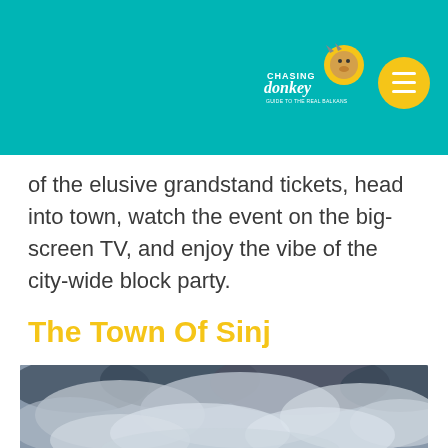Chasing the Donkey
of the elusive grandstand tickets, head into town, watch the event on the big-screen TV, and enjoy the vibe of the city-wide block party.
The Town Of Sinj
[Figure (photo): Dramatic panoramic view of the town of Sinj under a stormy cloudy sky, with hills and rooftops visible in the lower portion]